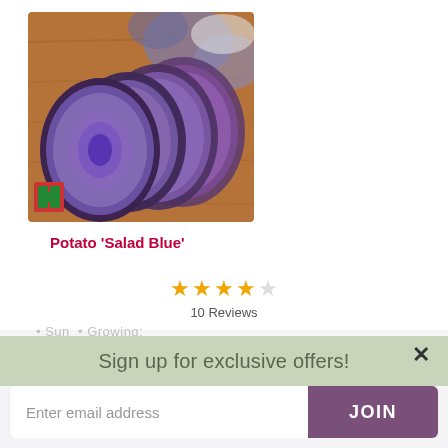[Figure (photo): Sliced purple/blue potatoes on a wooden cutting board, with whole blue potatoes in the background. A seed company logo is visible in the bottom-left corner of the image.]
Potato 'Salad Blue'
[Figure (infographic): Star rating: 4 out of 5 stars, labeled '10 Reviews']
10 Reviews
Sign up for exclusive offers!
Enter email address
JOIN